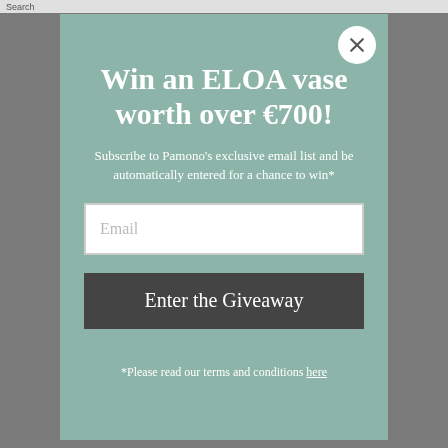Win an ELOA vase worth over €700!
Subscribe to Pamono's exclusive email list and be automatically entered for a chance to win*
Email
Enter the Giveaway
*Please read our terms and conditions here